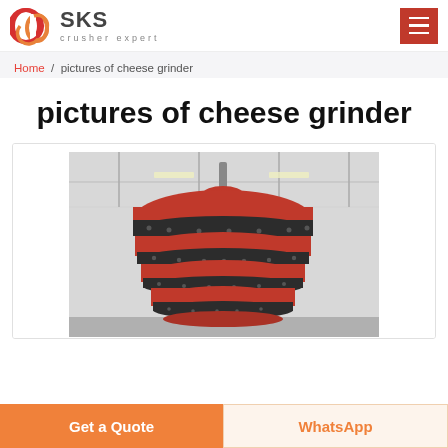SKS crusher expert
Home / pictures of cheese grinder
pictures of cheese grinder
[Figure (photo): Large red and dark-gray industrial cone crusher / grinding machine photographed inside a factory warehouse with steel ceiling trusses. The crusher has a distinctive layered, mushroom-like shape with alternating red and dark sections.]
Get a Quote
WhatsApp